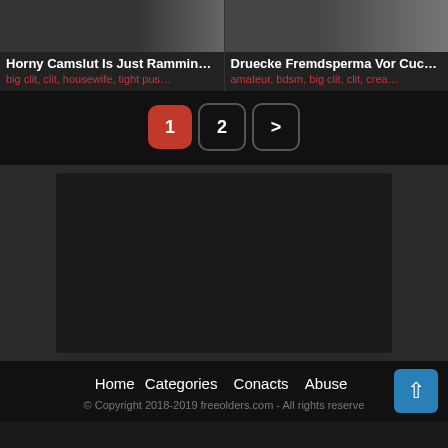[Figure (screenshot): Two video thumbnails side by side at the top of the page]
Horny Camslut Is Just Rammin…
big clit, clit, housewife, tight pus…
Druecke Fremdsperma Vor Cuc…
amateur, bdsm, big clit, clit, crea…
1  2  >
[Figure (other): Dark advertisement/content placeholder box]
Home   Categories   Conacts   Abuse
© Copyright 2018-2019 freeolders.com - All rights reserved